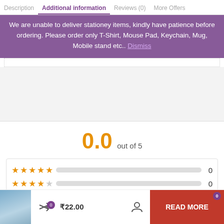Description   Additional information   Reviews (0)   More Offers
We are unable to deliver stationey items, kindly have patience before ordering. Please order only T-Shirt, Mouse Pad, Keychain, Mug, Mobile stand etc.. Dismiss
[Figure (screenshot): Rating section showing 0.0 out of 5 with 5-star breakdown bars all showing 0 reviews]
₹22.00   READ MORE